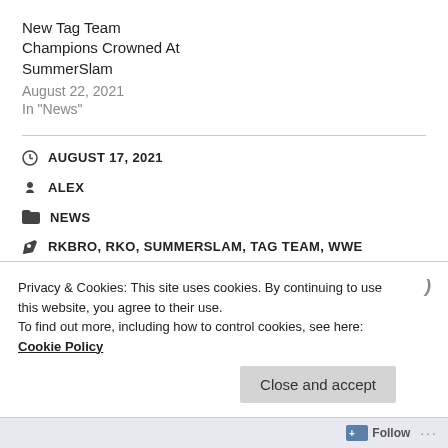New Tag Team Champions Crowned At SummerSlam
August 22, 2021
In "News"
AUGUST 17, 2021
ALEX
NEWS
RKBRO, RKO, SUMMERSLAM, TAG TEAM, WWE
Privacy & Cookies: This site uses cookies. By continuing to use this website, you agree to their use.
To find out more, including how to control cookies, see here: Cookie Policy
Close and accept